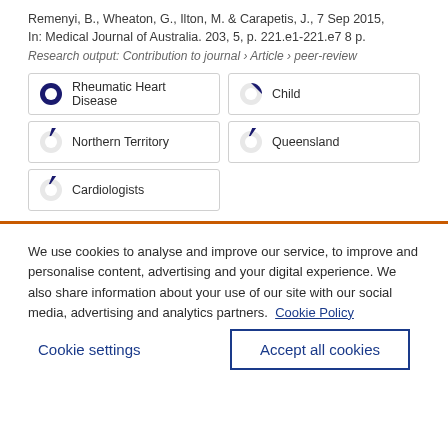Remenyi, B., Wheaton, G., Ilton, M. & Carapetis, J., 7 Sep 2015, In: Medical Journal of Australia. 203, 5, p. 221.e1-221.e7 8 p.
Research output: Contribution to journal › Article › peer-review
Rheumatic Heart Disease
Child
Northern Territory
Queensland
Cardiologists
We use cookies to analyse and improve our service, to improve and personalise content, advertising and your digital experience. We also share information about your use of our site with our social media, advertising and analytics partners.  Cookie Policy
Cookie settings
Accept all cookies